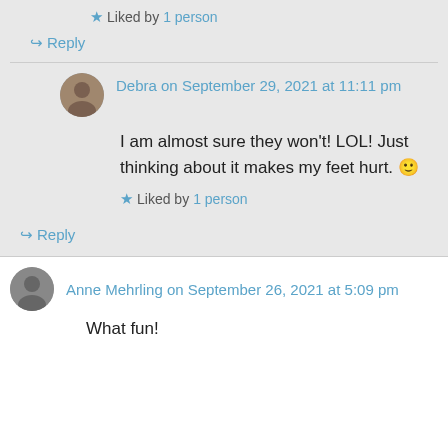★ Liked by 1 person
↪ Reply
Debra on September 29, 2021 at 11:11 pm
I am almost sure they won't! LOL! Just thinking about it makes my feet hurt. 🙂
★ Liked by 1 person
↪ Reply
Anne Mehrling on September 26, 2021 at 5:09 pm
What fun!